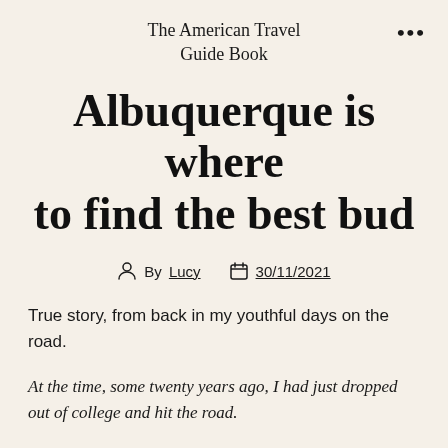The American Travel Guide Book
Albuquerque is where to find the best bud
By Lucy  30/11/2021
True story, from back in my youthful days on the road.
At the time, some twenty years ago, I had just dropped out of college and hit the road.